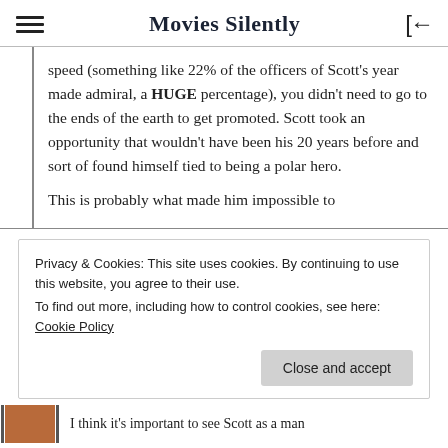Movies Silently
speed (something like 22% of the officers of Scott's year made admiral, a HUGE percentage), you didn't need to go to the ends of the earth to get promoted. Scott took an opportunity that wouldn't have been his 20 years before and sort of found himself tied to being a polar hero.
This is probably what made him impossible to
Privacy & Cookies: This site uses cookies. By continuing to use this website, you agree to their use.
To find out more, including how to control cookies, see here: Cookie Policy
Close and accept
I think it's important to see Scott as a man